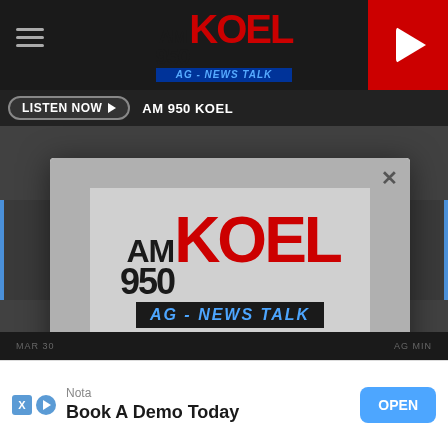[Figure (screenshot): AM 950 KOEL radio station website screenshot showing top navigation bar with hamburger menu, station logo, and play button. A modal popup is displayed showing the AM 950 KOEL AG-NEWS TALK logo with a download prompt and a red 'GET OUR FREE MOBILE APP' button. Below is a 'LISTEN NOW' bar and an ad banner at the bottom reading 'Book A Demo Today' with an OPEN button.]
LISTEN NOW
AM 950 KOEL
DOWNLOAD THE AM 950 KOEL MOBILE APP
GET OUR FREE MOBILE APP
Nota
Book A Demo Today
OPEN